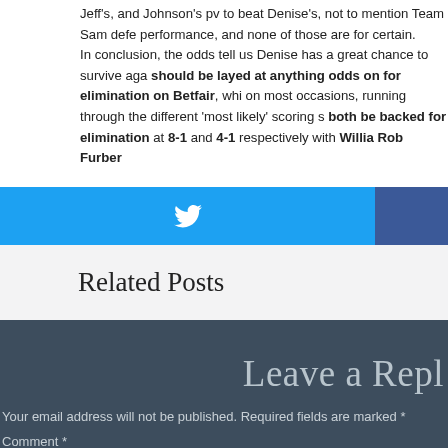Jeff's, and Johnson's pv to beat Denise's, not to mention Team Sam defe performance, and none of those are for certain. In conclusion, the odds tell us Denise has a great chance to survive aga should be layed at anything odds on for elimination on Betfair, whi on most occasions, running through the different 'most likely' scoring s both be backed for elimination at 8-1 and 4-1 respectively with Willia Rob Furber
[Figure (other): Twitter share button (blue) and a second share button (dark blue) side by side]
Related Posts
Leave a Repl
Your email address will not be published. Required fields are marked *
Comment *